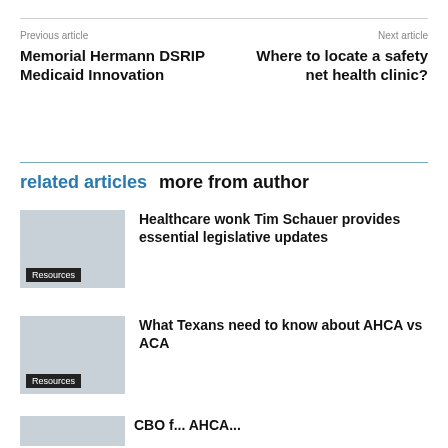Previous article
Next article
Memorial Hermann DSRIP Medicaid Innovation
Where to locate a safety net health clinic?
related articles   more from author
Healthcare wonk Tim Schauer provides essential legislative updates
What Texans need to know about AHCA vs ACA
CBO f...  AHCA...